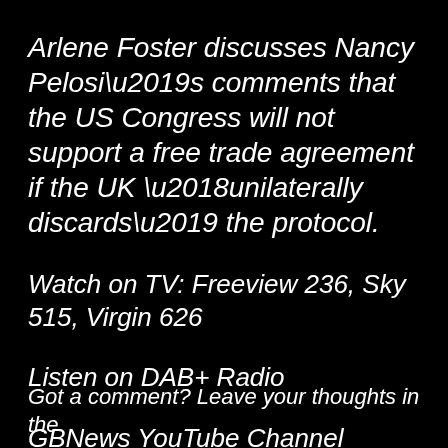Arlene Foster discusses Nancy Pelosi’s comments that the US Congress will not support a free trade agreement if the UK ‘unilaterally discards’ the protocol.
Watch on TV: Freeview 236, Sky 515, Virgin 626
Listen on DAB+ Radio
GBNews YouTube Channel
Got a comment? Leave your thoughts in the